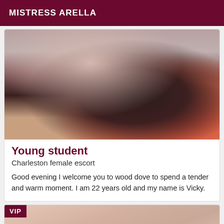MISTRESS ARELLA
[Figure (photo): Close-up photo showing dark leggings/stockings and a high-heeled shoe on a light background]
Young student
Charleston female escort
Good evening I welcome you to wood dove to spend a tender and warm moment. I am 22 years old and my name is Vicky.
[Figure (photo): Partial photo with VIP badge in top-left corner, showing skin-toned background]